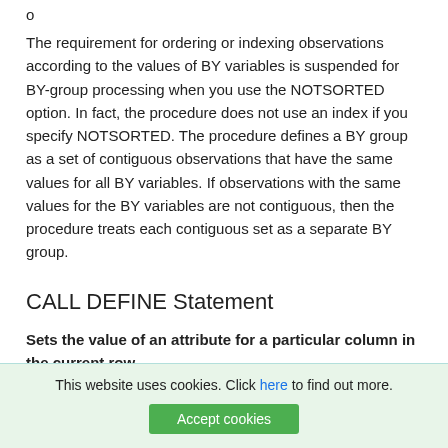o
The requirement for ordering or indexing observations according to the values of BY variables is suspended for BY-group processing when you use the NOTSORTED option. In fact, the procedure does not use an index if you specify NOTSORTED. The procedure defines a BY group as a set of contiguous observations that have the same values for all BY variables. If observations with the same values for the BY variables are not contiguous, then the procedure treats each contiguous set as a separate BY group.
CALL DEFINE Statement
Sets the value of an attribute for a particular column in the current row.
Restrictions Valid values are controlled by the attribute...
This website uses cookies. Click here to find out more. Accept cookies